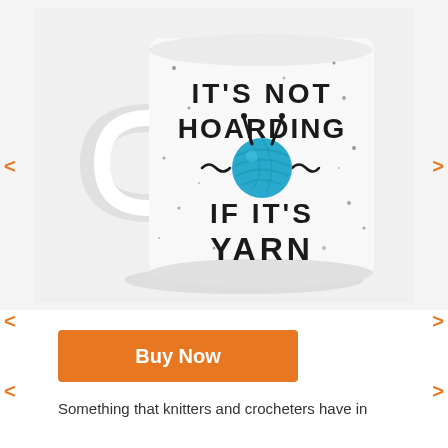[Figure (photo): A white ceramic coffee mug with black speckles and text reading IT'S NOT HOARDING IF IT'S YARN with an illustration of a blue ball of yarn with knitting needles in the center.]
Buy Now
Something that knitters and crocheters have in common is a love of yarn. You might have a disclaimer...